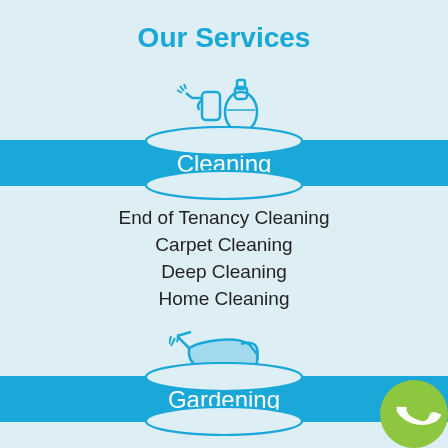Our Services
[Figure (illustration): Spray bottle and soap dispenser cleaning supplies icon in cyan/blue outline style]
Cleaning
End of Tenancy Cleaning
Carpet Cleaning
Deep Cleaning
Home Cleaning
[Figure (illustration): Watering can gardening icon in cyan/blue outline style]
Gardening
[Figure (illustration): Green phone/call badge icon in bottom right corner]